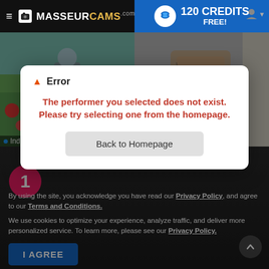≡ MASSERURCAMS.com  120 CREDITS FREE!
[Figure (screenshot): Two background photos: left shows a person in a red poppy field, right shows a tattooed person taking a mirror selfie]
Indy
[Figure (screenshot): Error modal dialog with warning icon, error message, and Back to Homepage button. Pink circle with number 1 visible behind modal.]
▲ Error
The performer you selected does not exist. Please try selecting one from the homepage.
Back to Homepage
By using the site, you acknowledge you have read our Privacy Policy, and agree to our Terms and Conditions.
We use cookies to optimize your experience, analyze traffic, and deliver more personalized service. To learn more, please see our Privacy Policy.
I AGREE